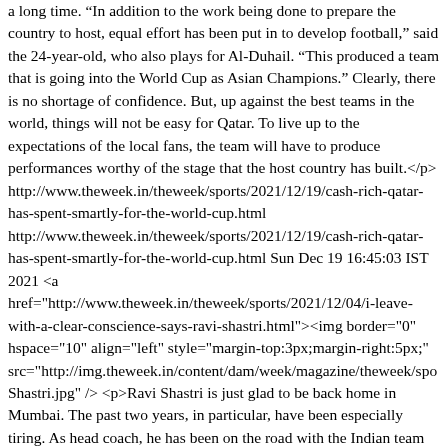a long time. “In addition to the work being done to prepare the country to host, equal effort has been put in to develop football,” said the 24-year-old, who also plays for Al-Duhail. “This produced a team that is going into the World Cup as Asian Champions.” Clearly, there is no shortage of confidence. But, up against the best teams in the world, things will not be easy for Qatar. To live up to the expectations of the local fans, the team will have to produce performances worthy of the stage that the host country has built.</p> http://www.theweek.in/theweek/sports/2021/12/19/cash-rich-qatar-has-spent-smartly-for-the-world-cup.html http://www.theweek.in/theweek/sports/2021/12/19/cash-rich-qatar-has-spent-smartly-for-the-world-cup.html Sun Dec 19 16:45:03 IST 2021 <a href="http://www.theweek.in/theweek/sports/2021/12/04/i-leave-with-a-clear-conscience-says-ravi-shastri.html"><img border="0" hspace="10" align="left" style="margin-top:3px;margin-right:5px;" src="http://img.theweek.in/content/dam/week/magazine/theweek/spo Shastri.jpg" /> <p>Ravi Shastri is just glad to be back home in Mumbai. The past two years, in particular, have been especially tiring. As head coach, he has been on the road with the Indian team to several countries, including Australia, New Zealand and the UAE. In that time, he has also lived in bio-secure bubbles, been through lengthy quarantines and followed strict protocols. His